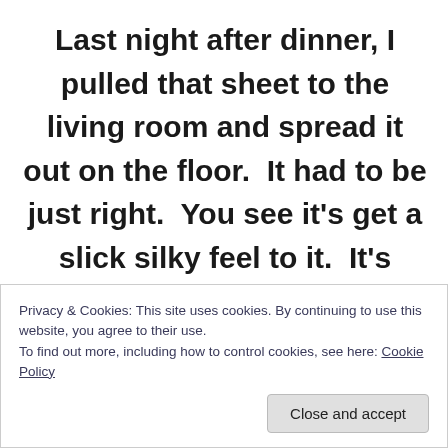Last night after dinner, I pulled that sheet to the living room and spread it out on the floor.  It had to be just right.  You see it's get a slick silky feel to it.  It's great for sliding – snorts.  I then went to my room and ran around, down the hall and into
Privacy & Cookies: This site uses cookies. By continuing to use this website, you agree to their use.
To find out more, including how to control cookies, see here: Cookie Policy